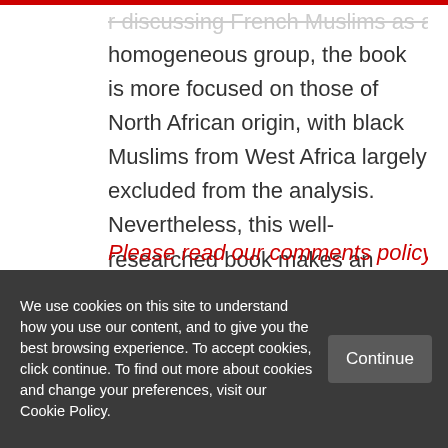homogeneous group, the book is more focused on those of North African origin, with black Muslims from West Africa largely excluded from the analysis. Nevertheless, this well-researched book makes an excellent contribution and will be a good reference for early scholars interested in exploring this area.
Please read our comments policy before
We use cookies on this site to understand how you use our content, and to give you the best browsing experience. To accept cookies, click continue. To find out more about cookies and change your preferences, visit our Cookie Policy.